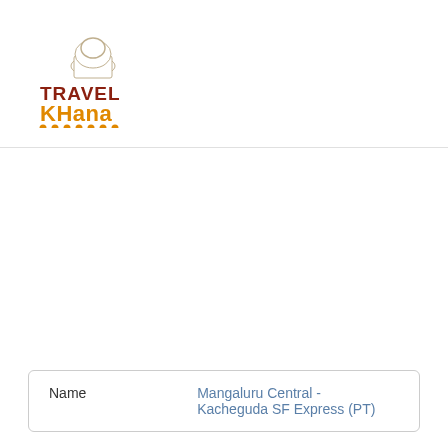[Figure (logo): Travel Khana logo with chef hat icon, 'TRAVEL' in dark red/brown bold text, 'KHana' in orange bold text, decorative dots below]
| Name | Mangaluru Central - Kacheguda SF Express (PT) |